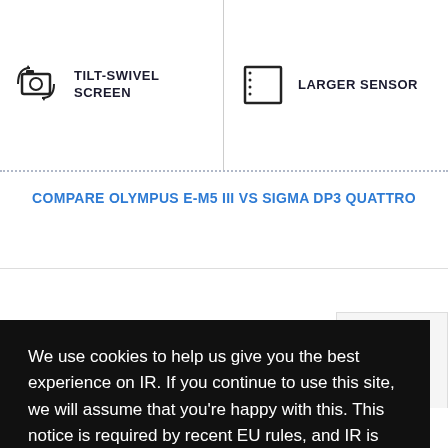[Figure (infographic): Two feature comparison icons side by side: left shows tilt-swivel screen icon with label 'TILT-SWIVEL SCREEN', right shows sensor icon with label 'LARGER SENSOR']
COMPARE OLYMPUS E-M5 III vs SIGMA DP3 QUATTRO
We use cookies to help us give you the best experience on IR. If you continue to use this site, we will assume that you're happy with this. This notice is required by recent EU rules, and IR is read globally, so we need to keep the bureaucrats off our case!
Learn more
Got it!
$999 | APS-C
$999 | 4/3